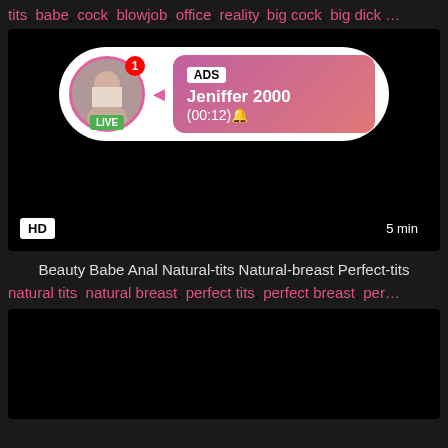tits, babe, cock, blowjob, office, reality, big cock, big dick, …
[Figure (screenshot): Video thumbnail (black) with overlay notification bubble showing a female avatar with LIVE badge, ADS label, username Jeniffer 2000, time (00:12), HD badge bottom-left, 5 min badge bottom-right]
Beauty Babe Anal Natural-tits Natural-breast Perfect-tits
natural tits, natural breast, perfect tits, perfect breast, per…
[Figure (screenshot): Second video thumbnail (black/dark)]